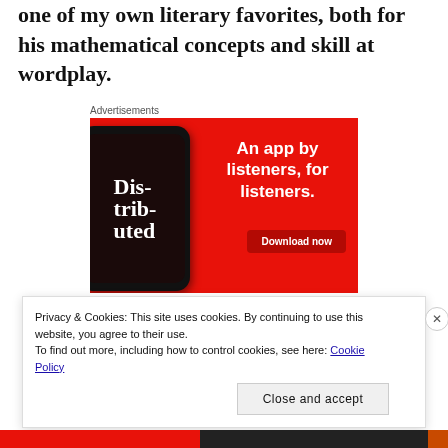one of my own literary favorites, both for his mathematical concepts and skill at wordplay.
[Figure (screenshot): Advertisement banner with red background showing a smartphone with a podcast app open displaying 'Dis-trib-uted'. Text reads 'An app by listeners, for listeners.' with a 'Download now' button.]
Privacy & Cookies: This site uses cookies. By continuing to use this website, you agree to their use.
To find out more, including how to control cookies, see here: Cookie Policy
Close and accept